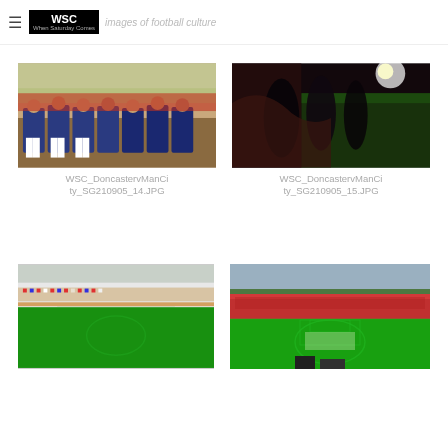WSC · images of football culture
[Figure (photo): Football team bench/dugout scene with players and staff seated, crowd in background]
WSC_DoncastervManCity_SG210905_14.JPG
[Figure (photo): Silhouettes of spectators viewed from tunnel/entrance with floodlit pitch in background]
WSC_DoncastervManCity_SG210905_15.JPG
[Figure (photo): Aerial view of football stadium stands with crowd]
[Figure (photo): Football stadium exterior/interior with pitch and stands, pre-match ceremony]